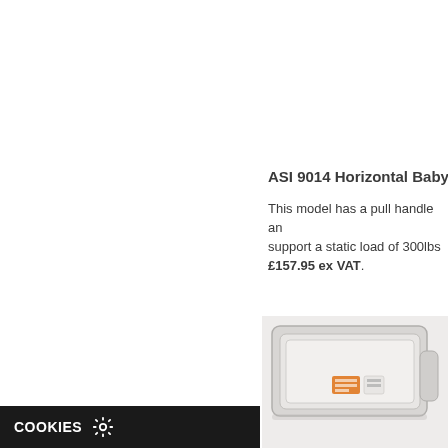ASI 9014 Horizontal Baby Cha…
This model has a pull handle an… support a static load of 300lbs… £157.95 ex VAT.
[Figure (photo): Baby changing unit product photo showing a white horizontal wall-mounted baby changer with an orange label, photographed at an angle on a light background.]
COOKIES ⚙